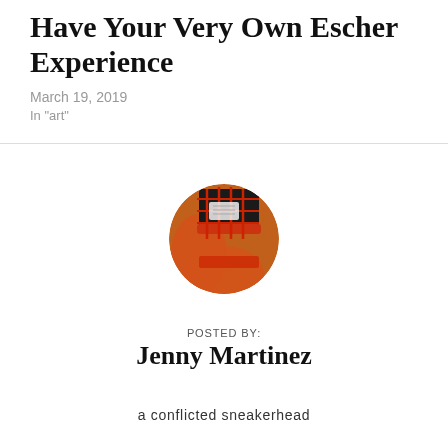Have Your Very Own Escher Experience
March 19, 2019
In "art"
[Figure (photo): Circular avatar photo showing sneakers and orange accents, used as author profile image]
POSTED BY:
Jenny Martinez
a conflicted sneakerhead